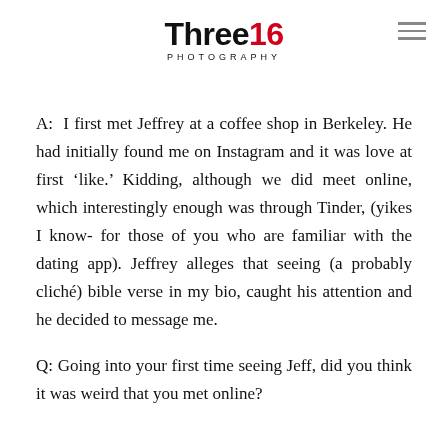Three16 PHOTOGRAPHY
A: I first met Jeffrey at a coffee shop in Berkeley. He had initially found me on Instagram and it was love at first ‘like.’ Kidding, although we did meet online, which interestingly enough was through Tinder, (yikes I know- for those of you who are familiar with the dating app). Jeffrey alleges that seeing (a probably cliché) bible verse in my bio, caught his attention and he decided to message me.
Q: Going into your first time seeing Jeff, did you think it was weird that you met online?